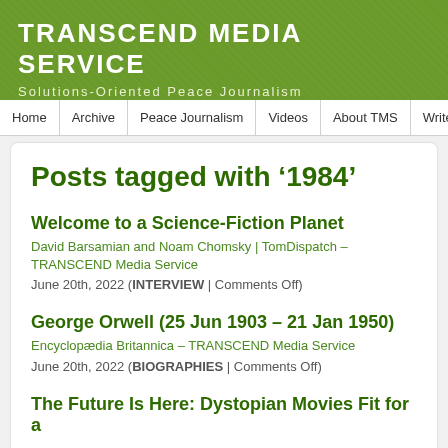TRANSCEND MEDIA SERVICE
Solutions-Oriented Peace Journalism
Home | Archive | Peace Journalism | Videos | About TMS | Write to Antonio (e
Posts tagged with '1984'
Welcome to a Science-Fiction Planet
David Barsamian and Noam Chomsky | TomDispatch – TRANSCEND Media Service
June 20th, 2022 (INTERVIEW | Comments Off)
George Orwell (25 Jun 1903 – 21 Jan 1950)
Encyclopædia Britannica – TRANSCEND Media Service
June 20th, 2022 (BIOGRAPHIES | Comments Off)
The Future Is Here: Dystopian Movies Fit for a Pandemic World